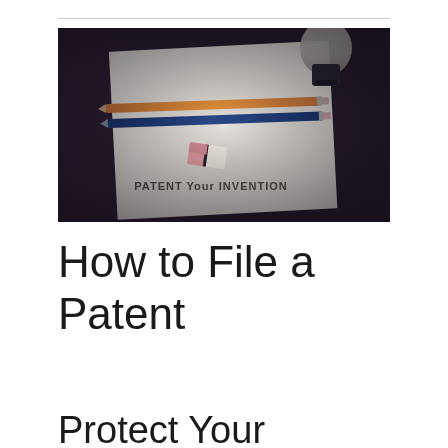[Figure (photo): A photo of a white sheet of paper on a dark wooden desk with an orange pencil and a blue pencil laid across it, a pink and white eraser, a light bulb with a dark base in the upper right corner, and the text 'PATENT Your INVENTION' printed on the paper in a stamp-like font.]
How to File a Patent
Protect Your Invention